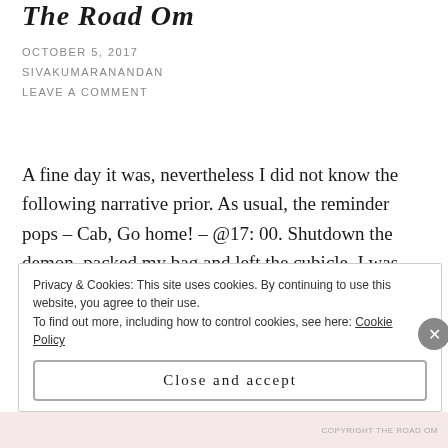The Road Om
OCTOBER 5, 2017
SIVAKUMARANANDAN
LEAVE A COMMENT
A fine day it was, nevertheless I did not know the following narrative prior. As usual, the reminder pops – Cab, Go home! – @17: 00. Shutdown the demon, packed my bag and left the cubicle. I was alone, waiting at the bus-stop behind the fenced shabby grass. My cab was delayed, past beyond the routine, in-fact no sign of any cab that runs for my company. Yes, your intuition is right, its the
Privacy & Cookies: This site uses cookies. By continuing to use this website, you agree to their use.
To find out more, including how to control cookies, see here: Cookie Policy
Close and accept